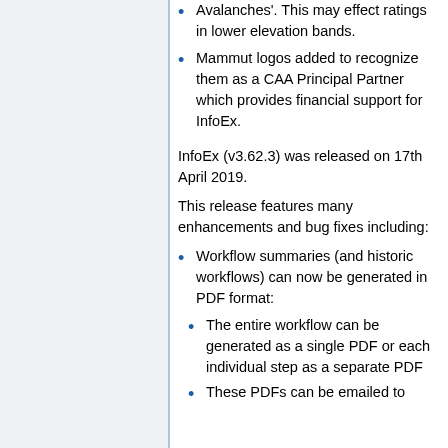Avalanches'. This may effect ratings in lower elevation bands.
Mammut logos added to recognize them as a CAA Principal Partner which provides financial support for InfoEx.
InfoEx (v3.62.3) was released on 17th April 2019.
This release features many enhancements and bug fixes including:
Workflow summaries (and historic workflows) can now be generated in PDF format:
The entire workflow can be generated as a single PDF or each individual step as a separate PDF
These PDFs can be emailed to